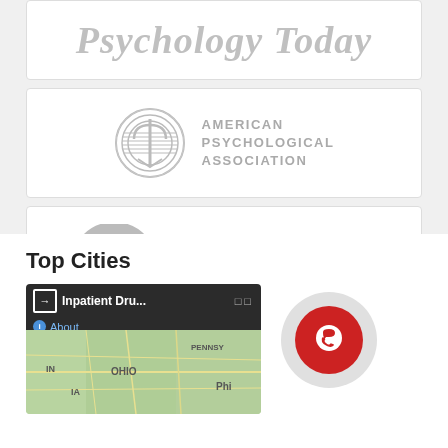[Figure (logo): Psychology Today logo in gray italic serif font]
[Figure (logo): American Psychological Association logo with circular emblem and gray text]
[Figure (logo): American Counseling Association logo with circular C emblem and tagline 'Your Passion. Your Profession. Our Purpose.']
Top Cities
[Figure (map): Google Maps screenshot showing Inpatient Drug treatment map with OHIO, PENNSYLVANIA and surrounding states visible]
[Figure (other): Red circular phone/contact icon on gray background]